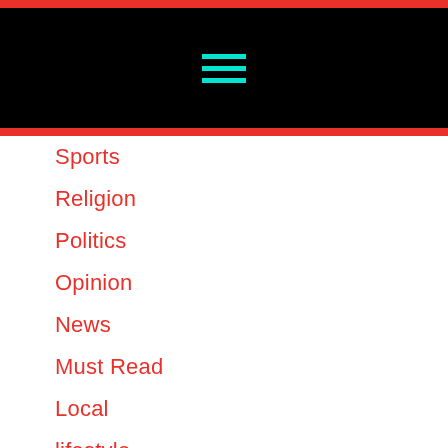[Figure (other): Black header bar with cyan hamburger menu icon (three horizontal lines)]
Sports
Religion
Politics
Opinion
News
Must Read
Local
lifestyle
Health
Fashion
Environment
Entertainment
Education